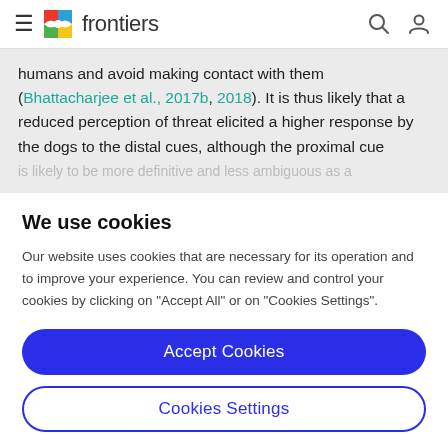frontiers
humans and avoid making contact with them (Bhattacharjee et al., 2017b, 2018). It is thus likely that a reduced perception of threat elicited a higher response by the dogs to the distal cues, although the proximal cue is likely to be more definitive and less ambiguous as a
We use cookies
Our website uses cookies that are necessary for its operation and to improve your experience. You can review and control your cookies by clicking on "Accept All" or on "Cookies Settings".
Accept Cookies
Cookies Settings